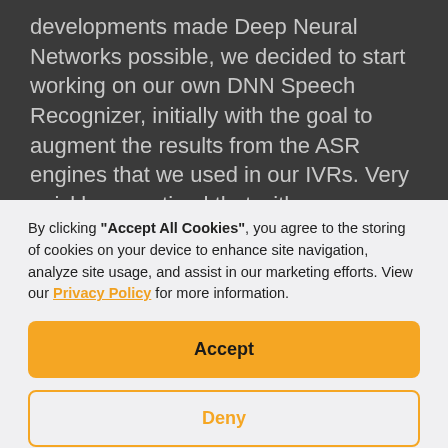developments made Deep Neural Networks possible, we decided to start working on our own DNN Speech Recognizer, initially with the goal to augment the results from the ASR engines that we used in our IVRs. Very quickly we noticed that with our new customized ASR used for IVR tasks we could achieve results better than with the
By clicking "Accept All Cookies", you agree to the storing of cookies on your device to enhance site navigation, analyze site usage, and assist in our marketing efforts. View our Privacy Policy for more information.
Accept
Deny
Preferences